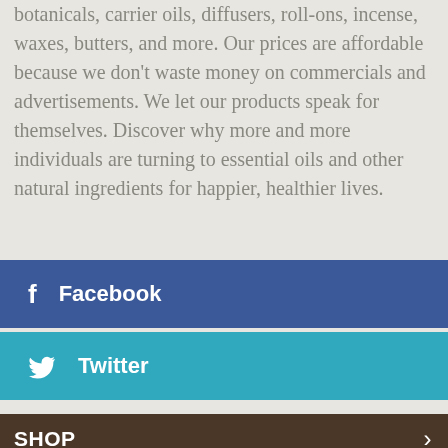botanicals, carrier oils, diffusers, roll-ons, incense, waxes, butters, and more. Our prices are affordable because we don't waste money on commercials and advertisements. We let our products speak for themselves. Discover why more and more individuals are turning to essential oils and other natural ingredients for happier, healthier lives.
[Figure (infographic): Facebook social media share button — blue background with Facebook 'f' icon and text 'Facebook']
[Figure (infographic): Twitter social media share button — teal background with Twitter bird icon and text 'Twitter']
SHOP
BLOG
INGREDIENTS